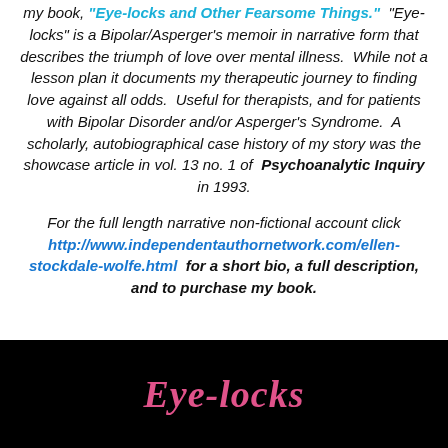my book, "Eye-locks and Other Fearsome Things." "Eye-locks" is a Bipolar/Asperger's memoir in narrative form that describes the triumph of love over mental illness. While not a lesson plan it documents my therapeutic journey to finding love against all odds. Useful for therapists, and for patients with Bipolar Disorder and/or Asperger's Syndrome. A scholarly, autobiographical case history of my story was the showcase article in vol. 13 no. 1 of Psychoanalytic Inquiry in 1993.
For the full length narrative non-fictional account click http://www.independentauthornetwork.com/ellen-stockdale-wolfe.html for a short bio, a full description, and to purchase my book.
[Figure (illustration): Black background book cover section showing the italic pink/rose title text 'Eye-locks']